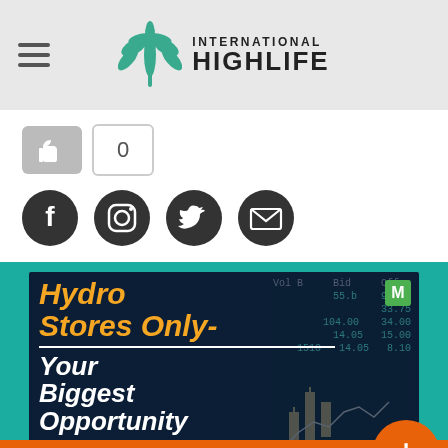International Highlife
[Figure (screenshot): Like button with count '0' and social media icons: Facebook, Instagram, Twitter, Email]
[Figure (infographic): Advertisement image with teal background and stock market chart overlay. Text reads: 'Hydro Stores Only- Your Biggest Opportunity' in orange and white bold italic text. Green 'M' badge in top right. Bottom orange bar reads 'Online Smoke Shop'. Orange plus button bottom right.]